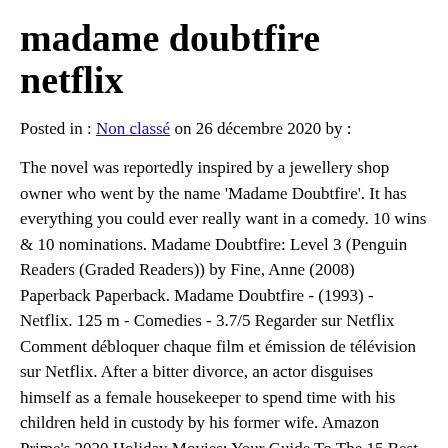madame doubtfire netflix
Posted in : Non classé on 26 décembre 2020 by :
The novel was reportedly inspired by a jewellery shop owner who went by the name 'Madame Doubtfire'. It has everything you could ever really want in a comedy. 10 wins & 10 nominations. Madame Doubtfire: Level 3 (Penguin Readers (Graded Readers)) by Fine, Anne (2008) Paperback Paperback. Madame Doubtfire - (1993) - Netflix. 125 m - Comedies - 3.7/5 Regarder sur Netflix Comment débloquer chaque film et émission de télévision sur Netflix. After a bitter divorce, an actor disguises himself as a female housekeeper to spend time with his children held in custody by his former wife. Amazon Prime's 2020 Holiday Movies: Your Guide To The 15 Best Christmas Movies on Amazon Prime, How Christmas Movies Explain Hollywood History, 'A California Christmas' Sequel Coming to Netflix, Disney+: Every Christmas Movie, Special, and Episode Available To Stream, Stream It Or Skip It: 'London Hughes: To Catch A Dick' On Netflix, Exposing Double Standards In Comedy, 'Coming 2 America' Trailer: Eddie Murphy Sets Off to Find His Son in Amazon Sequel. Tom Holland's Misprinted 'Cherry' Poster Leaves Fans Puzzled, Woman Crush Wednesday: Nicola Coughlan is the Belle of the Ball in 'Bridgerton', 'The Midnight Sky' Ending Explained: George Clooney's Netflix Movie